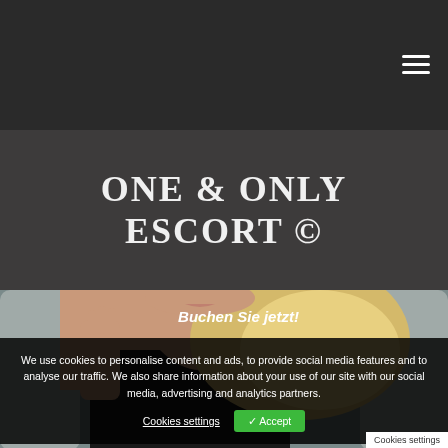[Figure (photo): Dark navigation bar at top with hamburger menu icon (three horizontal lines) on the right side]
ONE & ONLY ESCORT ©
[Figure (photo): Blonde woman in black tank top sitting in grey chair, head cropped above lips, long wavy blonde hair, posing with one hand near collar]
We use cookies to personalise content and ads, to provide social media features and to analyse our traffic. We also share information about your use of our site with our social media, advertising and analytics partners.
Cookies settings
✓ Accept
Buchen Sie jetzt!
Cookies settings